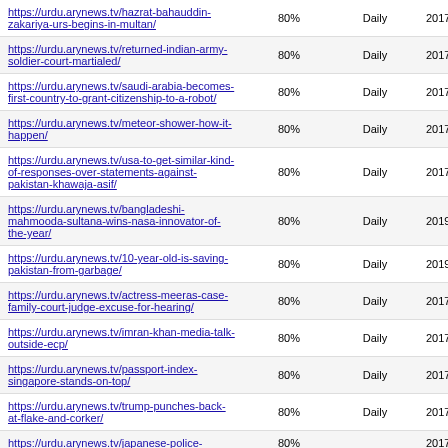| URL | Score | Frequency | Date |
| --- | --- | --- | --- |
| https://urdu.arynews.tv/hazrat-bahauddin-zakariya-urs-begins-in-multan/ | 80% | Daily | 2017-10-26 10:58 |
| https://urdu.arynews.tv/returned-indian-army-soldier-court-martialed/ | 80% | Daily | 2017-10-26 10:37 |
| https://urdu.arynews.tv/saudi-arabia-becomes-first-country-to-grant-citizenship-to-a-robot/ | 80% | Daily | 2017-10-27 10:18 |
| https://urdu.arynews.tv/meteor-shower-how-it-happen/ | 80% | Daily | 2017-10-26 10:37 |
| https://urdu.arynews.tv/usa-to-get-similar-kind-of-responses-over-statements-against-pakistan-khawaja-asif/ | 80% | Daily | 2017-10-26 09:58 |
| https://urdu.arynews.tv/bangladeshi-mahmooda-sultana-wins-nasa-innovator-of-the-year/ | 80% | Daily | 2019-10-14 11:21 |
| https://urdu.arynews.tv/10-year-old-is-saving-pakistan-from-garbage/ | 80% | Daily | 2019-10-14 11:21 |
| https://urdu.arynews.tv/actress-meeras-case-family-court-judge-excuse-for-hearing/ | 80% | Daily | 2017-10-26 09:15 |
| https://urdu.arynews.tv/imran-khan-media-talk-outside-ecp/ | 80% | Daily | 2017-10-26 08:45 |
| https://urdu.arynews.tv/passport-index-singapore-stands-on-top/ | 80% | Daily | 2017-10-26 08:38 |
| https://urdu.arynews.tv/trump-punches-back-at-flake-and-corker/ | 80% | Daily | 2017-10-26 08:26 |
| https://urdu.arynews.tv/japanese-police-... | 80% | Daily | 2017-10-26 |